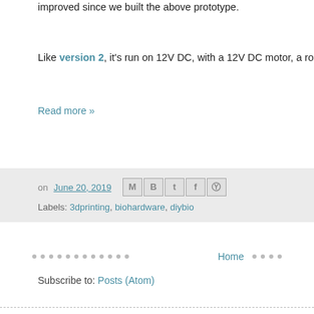improved since we built the above prototype.
Like version 2, it's run on 12V DC, with a 12V DC motor, a rocker sw
Read more »
on June 20, 2019
Labels: 3dprinting, biohardware, diybio
Home
Subscribe to: Posts (Atom)